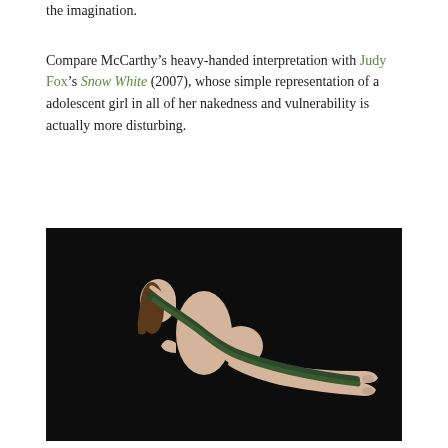the imagination.
Compare McCarthy's heavy-handed interpretation with Judy Fox's Snow White (2007), whose simple representation of a adolescent girl in all of her nakedness and vulnerability is actually more disturbing.
[Figure (photo): Photograph of a sculpture by Judy Fox titled Snow White (2007), showing a reclining adolescent female figure on a black background, viewed from above. A dark snake-like form runs along the body.]